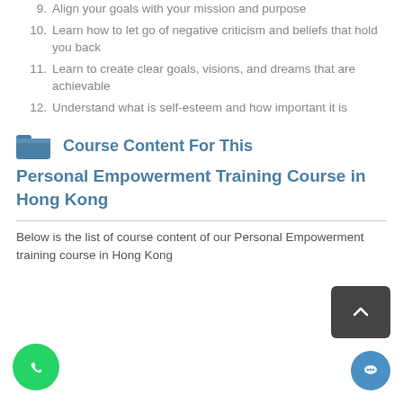9. Align your goals with your mission and purpose
10. Learn how to let go of negative criticism and beliefs that hold you back
11. Learn to create clear goals, visions, and dreams that are achievable
12. Understand what is self-esteem and how important it is
Course Content For This
Personal Empowerment Training Course in Hong Kong
Below is the list of course content of our Personal Empowerment training course in Hong Kong